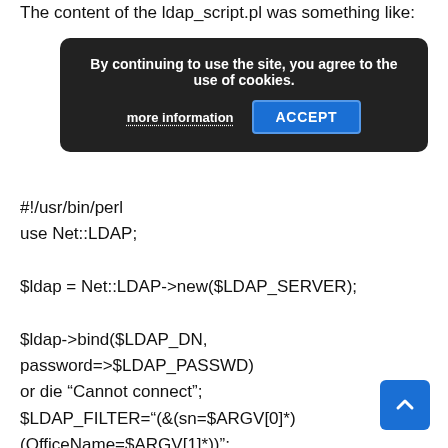The content of the ldap_script.pl was something like:
[Figure (screenshot): Cookie consent banner overlay with dark background, text 'By continuing to use the site, you agree to the use of cookies.', a 'more information' link, and an 'ACCEPT' button in blue.]
#!/usr/bin/perl
use Net::LDAP;
$ldap = Net::LDAP->new($LDAP_SERVER);
$ldap->bind($LDAP_DN, password=>$LDAP_PASSWD)
or die "Cannot connect";
$LDAP_FILTER="(&(sn=$ARGV[0]*)(OfficeName=$ARGV[1]*)";
$mesg = $ldap->search(base=>$LDAP_BASE,
Â Â Â Â Â Â Â Â Â Â Â Â Â Â Â Â Â Â Â
filter=>$LDAP_FILTER,
Â Â Â Â Â Â Â Â Â Â Â Â Â Â Â Â Â Â Â  ) or die "Cannot connect";
push(@ENTRIES,$mesg->entries);
[Figure (other): Blue scroll-to-top button with upward arrow chevron in bottom right corner.]